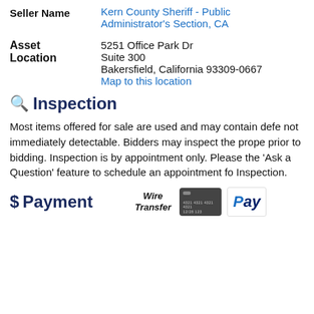Seller Name: Kern County Sheriff - Public Administrator's Section, CA
Asset Location: 5251 Office Park Dr, Suite 300, Bakersfield, California 93309-0667, Map to this location
Inspection
Most items offered for sale are used and may contain defects not immediately detectable. Bidders may inspect the property prior to bidding. Inspection is by appointment only. Please use the 'Ask a Question' feature to schedule an appointment for Inspection.
Payment
[Figure (other): Payment method icons: Wire Transfer text, dark credit card image, PayPal logo]